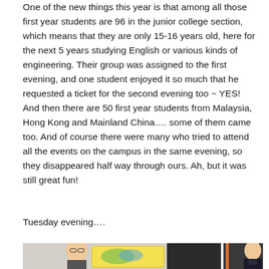One of the new things this year is that among all those first year students are 96 in the junior college section, which means that they are only 15-16 years old, here for the next 5 years studying English or various kinds of engineering. Their group was assigned to the first evening, and one student enjoyed it so much that he requested a ticket for the second evening too ~ YES!  And then there are 50 first year students from Malaysia, Hong Kong and Mainland China….  some of them came too.  And of course there were many who tried to attend all the events on the campus in the same evening, so they disappeared half way through ours.  Ah, but it was still great fun!
Tuesday evening….
[Figure (photo): Two photos side by side: left photo shows two young Asian students, one wearing glasses, with a colorful sign/banner; right photo shows a young Asian student in a dark jacket/uniform.]